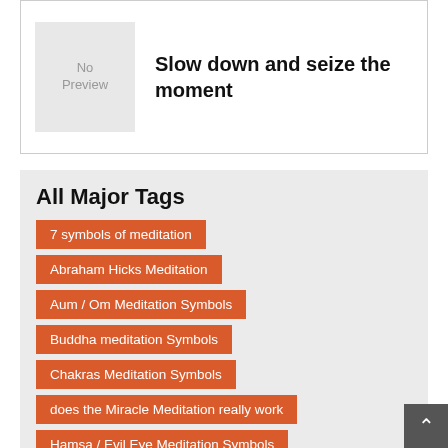[Figure (illustration): No Preview placeholder image box with grey background]
Slow down and seize the moment
All Major Tags
7 symbols of meditation
Abraham Hicks Meditation
Aum / Om Meditation Symbols
Buddha meditation Symbols
Chakras Meditation Symbols
does the Miracle Meditation really work
Hamsa / Evil Eye Meditation Symbols
How Does The Deep Sleep Meditation Work
how does the Miracle Meditation work